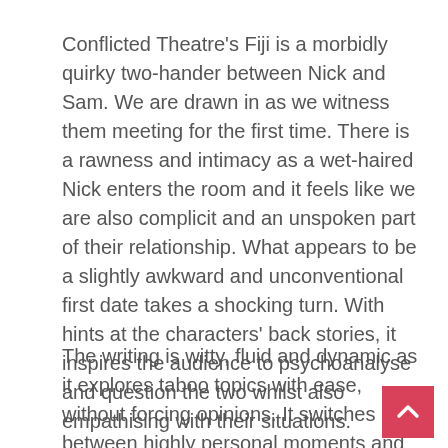Conflicted Theatre's Fiji is a morbidly quirky two-hander between Nick and Sam. We are drawn in as we witness them meeting for the first time. There is a rawness and intimacy as a wet-haired Nick enters the room and it feels like we are also complicit and an unspoken part of their relationship. What appears to be a slightly awkward and unconventional first date takes a shocking turn. With hints at the characters' back stories, it inspires the audience to psychoanalyse and question the two whilst also empathising with their situations.
The writing is witty, fluid and dynamic as it explores taboo topics with ease, without forcing opinions. It switches between highly personal moments and more